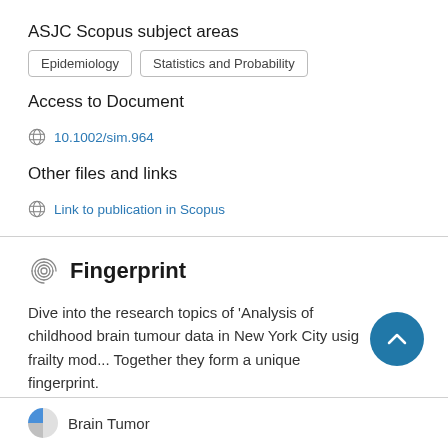ASJC Scopus subject areas
Epidemiology
Statistics and Probability
Access to Document
10.1002/sim.964
Other files and links
Link to publication in Scopus
Fingerprint
Dive into the research topics of 'Analysis of childhood brain tumour data in New York City usig frailty mod... Together they form a unique fingerprint.
Brain Tumor